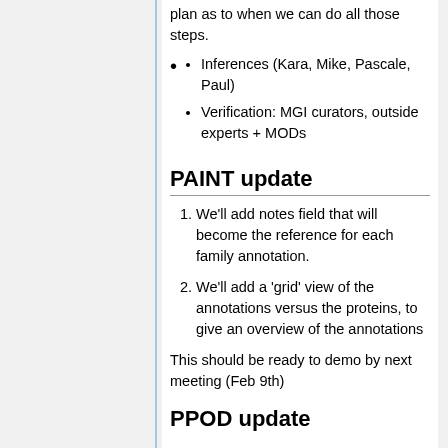plan as to when we can do all those steps.
Inferences (Kara, Mike, Pascale, Paul)
Verification: MGI curators, outside experts + MODs
PAINT update
We'll add notes field that will become the reference for each family annotation.
We'll add a 'grid' view of the annotations versus the proteins, to give an overview of the annotations
This should be ready to demo by next meeting (Feb 9th)
PPOD update